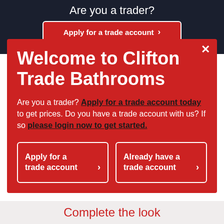Are you a trader?
Apply for a trade account >
Welcome to Clifton Trade Bathrooms
Are you a trader? Apply for a trade account today to get prices. Do you have a trade account with us? If so please login now to get started.
Apply for a trade account >
Already have a trade account >
Complete the look